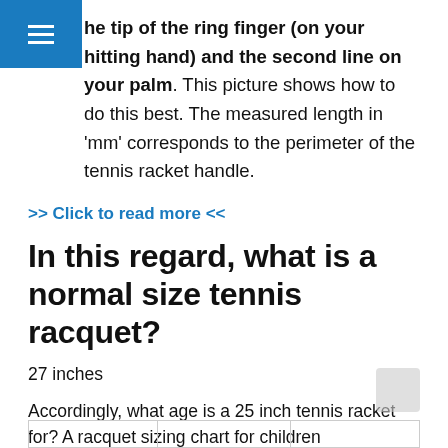≡
he tip of the ring finger (on your hitting hand) and the second line on your palm. This picture shows how to do this best. The measured length in 'mm' corresponds to the perimeter of the tennis racket handle.
>> Click to read more <<
In this regard, what is a normal size tennis racquet?
27 inches
Accordingly, what age is a 25 inch tennis racket for? A racquet sizing chart for children